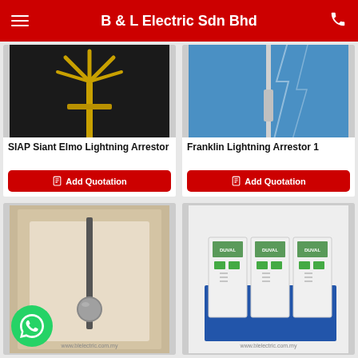B & L Electric Sdn Bhd
[Figure (photo): SIAP Siant Elmo Lightning Arrestor — gold metallic lightning rod with branching tips on dark background]
SIAP Siant Elmo Lightning Arrestor
[Figure (photo): Franklin Lightning Arrestor 1 — slim metallic lightning rod on blue background with lightning effect]
Franklin Lightning Arrestor 1
[Figure (photo): Lightning arrestor with ball tip in cardboard packaging box]
[Figure (photo): DUVAL surge protection devices — three modules mounted on blue DIN rail mount]